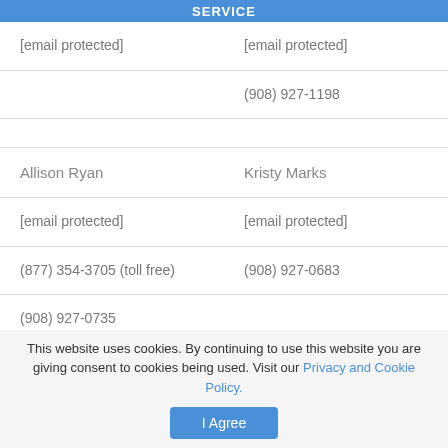SERVICE
| [email protected] | [email protected] |
|  | (908) 927-1198 |
|  |  |
| Allison Ryan | Kristy Marks |
| [email protected] | [email protected] |
| (877) 354-3705 (toll free) | (908) 927-0683 |
| (908) 927-0735 |  |
This website uses cookies. By continuing to use this website you are giving consent to cookies being used. Visit our Privacy and Cookie Policy.